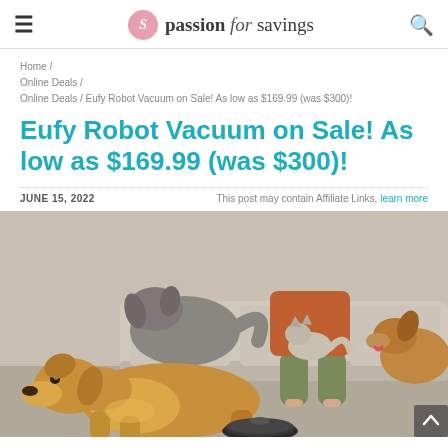passion for savings
Home / Online Deals / Online Deals / Eufy Robot Vacuum on Sale! As low as $169.99 (was $300)!
Eufy Robot Vacuum on Sale! As low as $169.99 (was $300)!
JUNE 15, 2022   This post may contain Affiliate Links, learn more
[Figure (photo): Photo of a golden retriever sniffing a robot vacuum on a carpet, with a person sitting on a couch with a cat and another dog in the background]